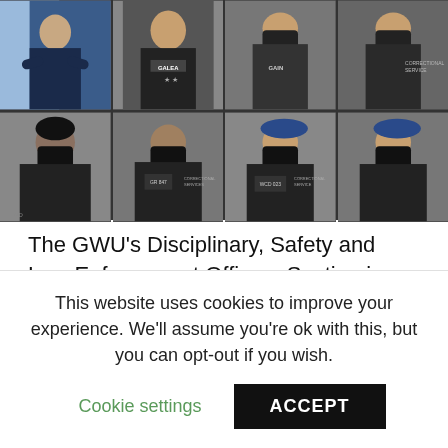[Figure (photo): Grid of 8 photos showing correctional service officers wearing black uniforms and face masks. Top row: man in suit with arms crossed, officer with GALEA badge, officer with GAIN badge and mask, officer with mask. Bottom row: officer in black with mask, officer with ID badge and mask, officer with blue beret and WCD023 badge and mask, officer with blue beret and mask.]
The GWU's Disciplinary, Safety and Law Enforcement Officers Section is waiting for a response so that after so many years, justice is done to workers at Correctional Services Agency;
This website uses cookies to improve your experience. We'll assume you're ok with this, but you can opt-out if you wish.
Cookie settings   ACCEPT